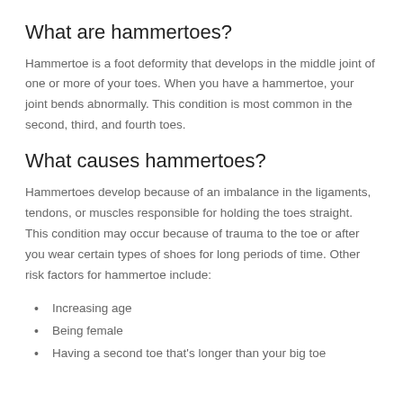What are hammertoes?
Hammertoe is a foot deformity that develops in the middle joint of one or more of your toes. When you have a hammertoe, your joint bends abnormally. This condition is most common in the second, third, and fourth toes.
What causes hammertoes?
Hammertoes develop because of an imbalance in the ligaments, tendons, or muscles responsible for holding the toes straight. This condition may occur because of trauma to the toe or after you wear certain types of shoes for long periods of time. Other risk factors for hammertoe include:
Increasing age
Being female
Having a second toe that's longer than your big toe